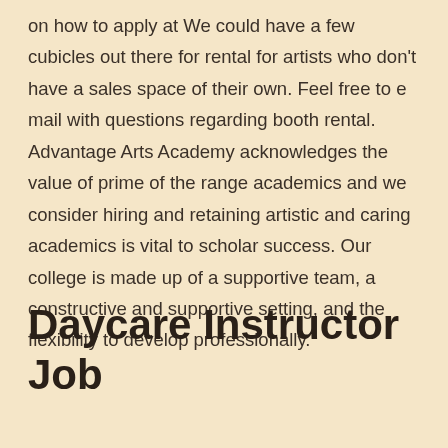on how to apply at We could have a few cubicles out there for rental for artists who don't have a sales space of their own. Feel free to e mail with questions regarding booth rental. Advantage Arts Academy acknowledges the value of prime of the range academics and we consider hiring and retaining artistic and caring academics is vital to scholar success. Our college is made up of a supportive team, a constructive and supportive setting, and the flexibility to develop professionally.
Daycare Instructor Job